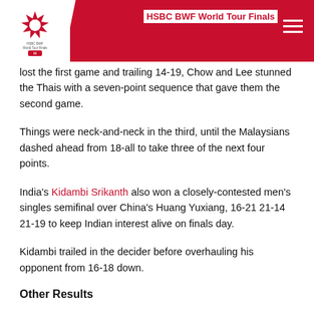HSBC BWF World Tour Finals
lost the first game and trailing 14-19, Chow and Lee stunned the Thais with a seven-point sequence that gave them the second game.
Things were neck-and-neck in the third, until the Malaysians dashed ahead from 18-all to take three of the next four points.
India's Kidambi Srikanth also won a closely-contested men's singles semifinal over China's Huang Yuxiang, 16-21 21-14 21-19 to keep Indian interest alive on finals day.
Kidambi trailed in the decider before overhauling his opponent from 16-18 down.
Other Results